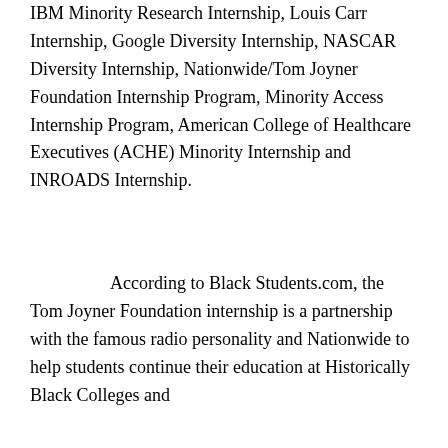IBM Minority Research Internship, Louis Carr Internship, Google Diversity Internship, NASCAR Diversity Internship, Nationwide/Tom Joyner Foundation Internship Program, Minority Access Internship Program, American College of Healthcare Executives (ACHE) Minority Internship and INROADS Internship.
According to Black Students.com, the Tom Joyner Foundation internship is a partnership with the famous radio personality and Nationwide to help students continue their education at Historically Black Colleges and